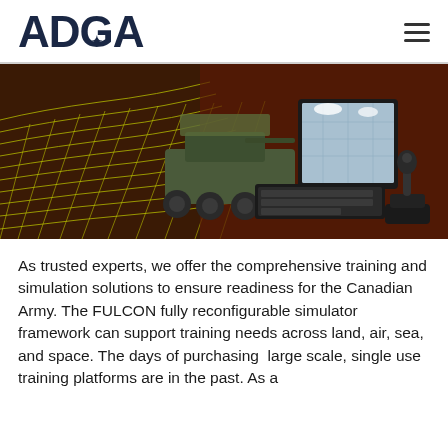ADGA
[Figure (photo): Military vehicle (LAV armoured personnel carrier) positioned next to a computer monitor and joystick controller on a stylized terrain grid background with yellow-green wave lines on dark brown, representing a military training simulation environment]
As trusted experts, we offer the comprehensive training and simulation solutions to ensure readiness for the Canadian Army. The FULCON fully reconfigurable simulator framework can support training needs across land, air, sea, and space. The days of purchasing  large scale, single use training platforms are in the past. As a